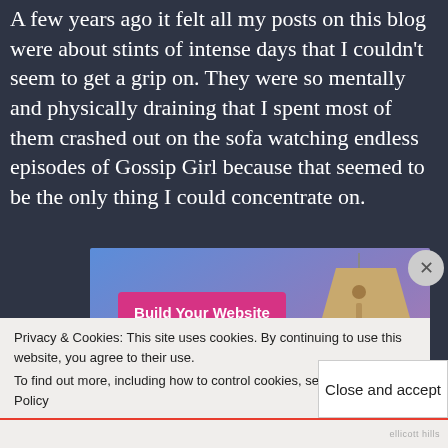A few years ago it felt all my posts on this blog were about stints of intense days that I couldn't seem to get a grip on. They were so mentally and physically draining that I spent most of them crashed out on the sofa watching endless episodes of Gossip Girl because that seemed to be the only thing I could concentrate on.
[Figure (screenshot): Advertisement banner with gradient blue-purple background, a pink button labeled 'Build Your Website', and a hanging price tag graphic.]
Privacy & Cookies: This site uses cookies. By continuing to use this website, you agree to their use.
To find out more, including how to control cookies, see here: Cookie Policy
Close and accept